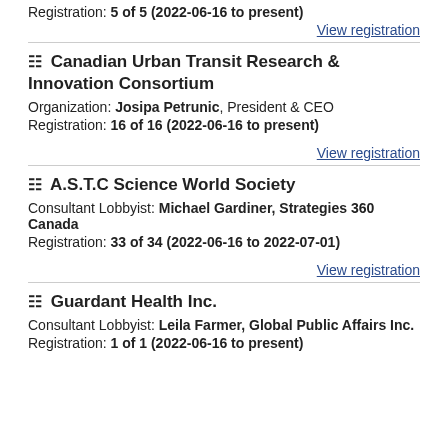Registration: 5 of 5 (2022-06-16 to present)
View registration
Canadian Urban Transit Research & Innovation Consortium
Organization: Josipa Petrunic, President & CEO
Registration: 16 of 16 (2022-06-16 to present)
View registration
A.S.T.C Science World Society
Consultant Lobbyist: Michael Gardiner, Strategies 360 Canada
Registration: 33 of 34 (2022-06-16 to 2022-07-01)
View registration
Guardant Health Inc.
Consultant Lobbyist: Leila Farmer, Global Public Affairs Inc.
Registration: 1 of 1 (2022-06-16 to present)